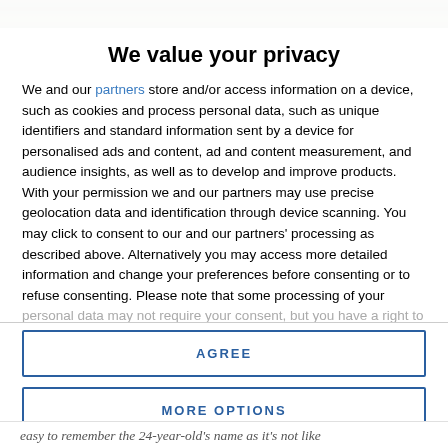[Figure (photo): Partial photo strip at top of page showing outdoor/nature scene in muted greens and browns]
We value your privacy
We and our partners store and/or access information on a device, such as cookies and process personal data, such as unique identifiers and standard information sent by a device for personalised ads and content, ad and content measurement, and audience insights, as well as to develop and improve products. With your permission we and our partners may use precise geolocation data and identification through device scanning. You may click to consent to our and our partners' processing as described above. Alternatively you may access more detailed information and change your preferences before consenting or to refuse consenting. Please note that some processing of your personal data may not require your consent, but you have a right to
AGREE
MORE OPTIONS
easy to remember the 24-year-old's name as it's not like